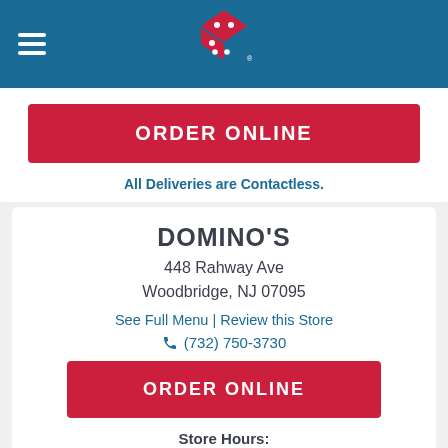[Figure (logo): Domino's Pizza logo with red and blue diamond shape and two white dots on blue header background]
ORDER ONLINE
All Deliveries are Contactless.
DOMINO'S
448 Rahway Ave
Woodbridge, NJ 07095
See Full Menu | Review this Store
(732) 750-3730
ORDER ONLINE
Store Hours:
Mon-Thu: 10:30 am to 12:00 am